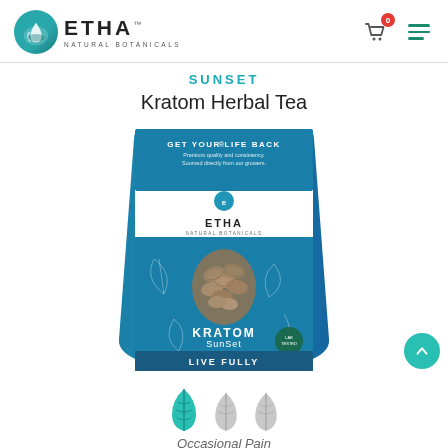[Figure (logo): ETHA Natural Botanicals logo with teal circular icon and text]
[Figure (other): Shopping cart icon with red badge showing 0, and hamburger menu icon in teal]
SUNSET
Kratom Herbal Tea
[Figure (photo): ETHA Natural Botanicals Kratom SunSet product bag - blue packaging with GET YOUR LIFE BACK tagline, kratom leaves inside, LIVE FULLY text at bottom]
[Figure (illustration): Three leaf icons - first one teal/active, second and third grey/inactive, indicating strength level for Occasional Pain]
Occasional Pain